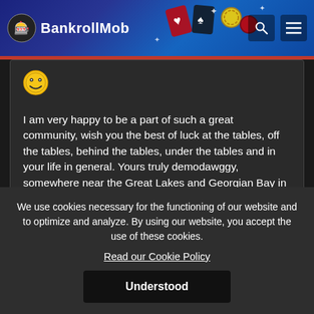[Figure (screenshot): BankrollMob website header with logo and casino-themed background artwork]
I am very happy to be a part of such a great community, wish you the best of luck at the tables, off the tables, behind the tables, under the tables and in your life in general. Yours truly demodawggy, somewhere near the Great Lakes and Georgian Bay in Canada.
We use cookies necessary for the functioning of our website and to optimize and analyze. By using our website, you accept the use of these cookies.
Read our Cookie Policy
Understood